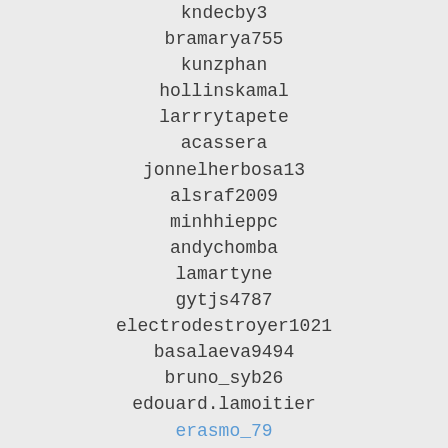kndecby3
bramarya755
kunzphan
hollinskamal
larrrytapete
acassera
jonnelherbosa13
alsraf2009
minhhieppc
andychomba
lamartyne
gytjs4787
electrodestroyer1021
basalaeva9494
bruno_syb26
edouard.lamoitier
erasmo_79
luismenguiano
dac879
dairytom
batmanfan42
elton_dej
lovebytes90210
109904025
boast